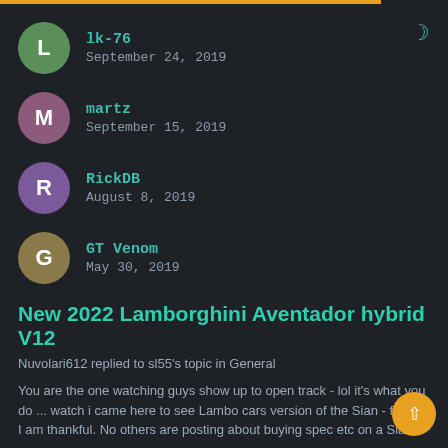lk-76
September 24, 2019
martz
September 15, 2019
RickDB
August 8, 2019
GT Venom
May 30, 2019
New 2022 Lamborghini Aventador hybrid V12
Nuvolari612 replied to sl55's topic in General
You are the one watching guys show up to open track - lol it's what you do ... watch i came here to see Lambo cars version of the Sian - for that I am thankful. No others are posting about buying spec etc on a Sia
September 24, 2019   292 replies